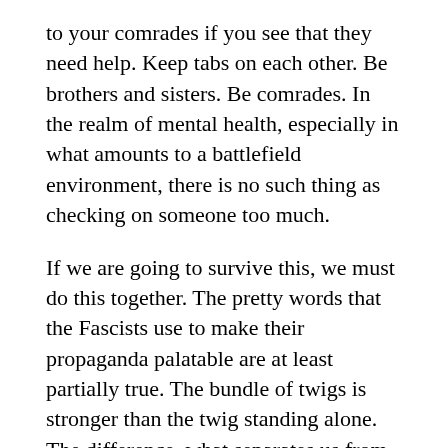to your comrades if you see that they need help. Keep tabs on each other. Be brothers and sisters. Be comrades. In the realm of mental health, especially in what amounts to a battlefield environment, there is no such thing as checking on someone too much.
If we are going to survive this, we must do this together. The pretty words that the Fascists use to make their propaganda palatable are at least partially true. The bundle of twigs is stronger than the twig standing alone. The difference, what separates us from them, is that we understand that this metaphor expands beyond individuals to cultures. In diversity, we are stronger than in isolation.